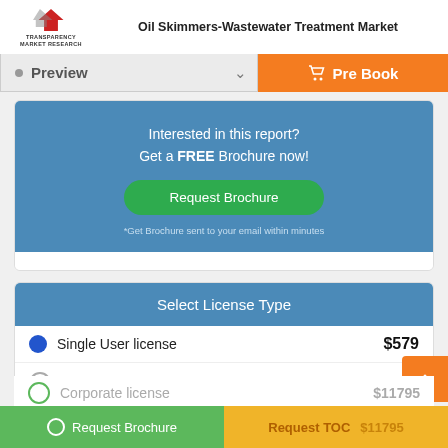Oil Skimmers-Wastewater Treatment Market
Interested in this report? Get a FREE Brochure now!
Request Brochure
*Get Brochure sent to your email within minutes
Select License Type
Single User license $5795
Multi-User license $8795
Corporate license $11795
Request Brochure
Request TOC